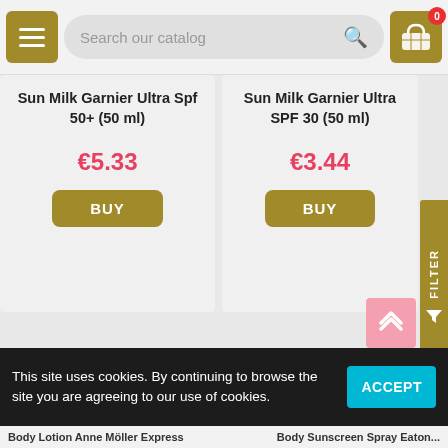[Figure (screenshot): Mobile e-commerce catalog page showing search bar with menu and cart buttons at top, two product cards with names, prices, and BUY buttons, two blank product card placeholders, a FILTER side tab, a scroll-up button, and a cookie consent banner at the bottom.]
Sun Milk Garnier Ultra Spf 50+ (50 ml)
€5.33
BUY
Sun Milk Garnier Ultra SPF 30 (50 ml)
€3.44
BUY
FILTER
This site uses cookies. By continuing to browse the site you are agreeing to our use of cookies.
ACCEPT
Body Lotion Anne Möller Express ... Body Sunscreen Spray Eaton ...